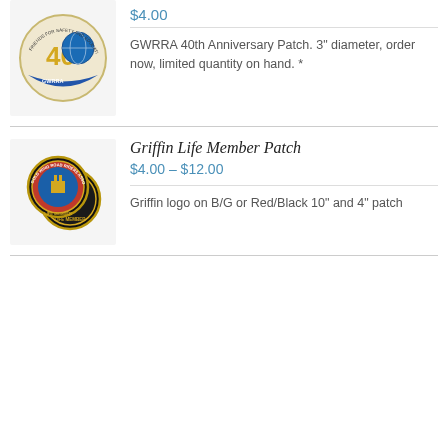[Figure (photo): GWRRA 40th Anniversary Patch circular embroidered patch]
$4.00
GWRRA 40th Anniversary Patch. 3" diameter, order now, limited quantity on hand. *
[Figure (photo): Griffin Life Member Patch - circular coin/patch with Gold Wing Road Riders Association branding]
Griffin Life Member Patch
$4.00 – $12.00
Griffin logo on B/G or Red/Black 10" and 4" patch